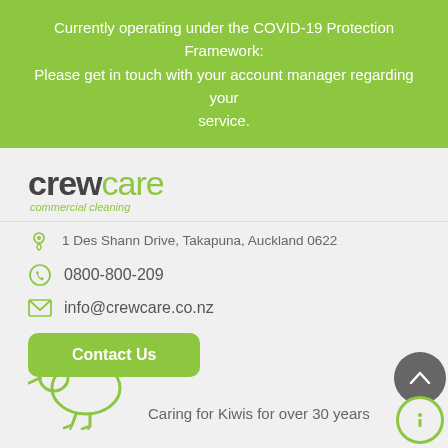Currently operating under the COVID-19 Protection Framework: Please get in touch with your account manager regarding your service.
[Figure (logo): CrewCare commercial cleaning logo — 'crew' in dark grey bold, 'care' in green regular weight, with 'commercial cleaning' tagline in green italic below]
1 Des Shann Drive, Takapuna, Auckland 0622
0800-800-209
info@crewcare.co.nz
Contact Us
[Figure (illustration): Green kiwi bird outline illustration]
Caring for Kiwis for over 30 years